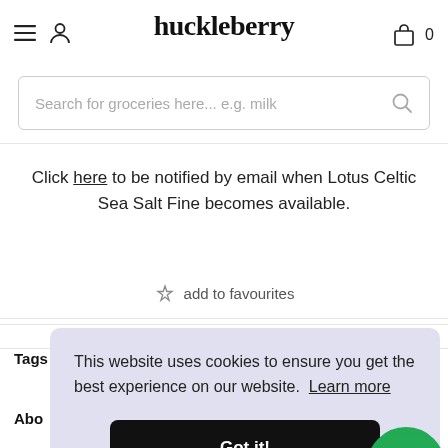huckleberry
Search for groceries here... e.g. milk
Click here to be notified by email when Lotus Celtic Sea Salt Fine becomes available.
☆ add to favourites
product details   delivery
Tags
Abo
This website uses cookies to ensure you get the best experience on our website. Learn more
Got it!